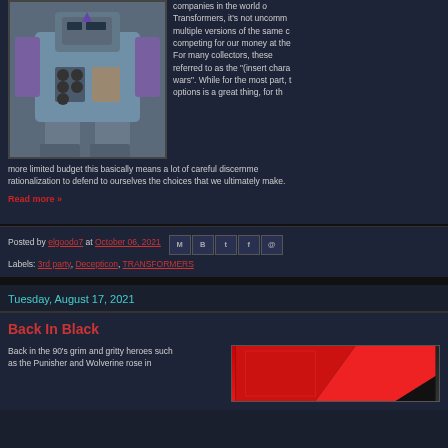[Figure (photo): Photo of a Transformers toy robot figure with purple and teal colors]
companies in the world of Transformers, it's not uncommon multiple versions of the same c competing for our money at the For many collectors, these referred to as the "(insert chara wars". While for the most part, t options is a great thing, for th more limited budget this basically means a lot of careful discernme rationalization to defend to ourselves the choices that we ultimately make.
Read more »
Posted by elgoodo7 at October 06, 2021
Labels: 3rd party, Decepticon, TRANSFORMERS
Tuesday, August 17, 2021
Back In Black
Back in the 90's grim and gritty heroes such as the Punisher and Wolverine rose in